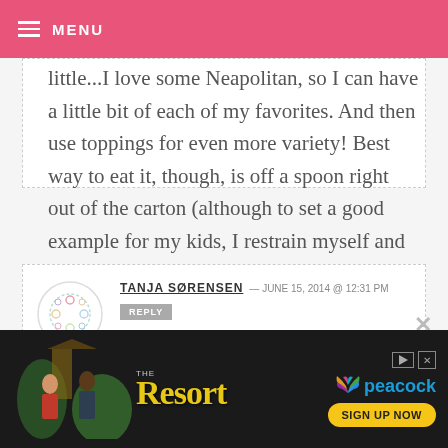MENU
little...I love some Neapolitan, so I can have a little bit of each of my favorites. And then use toppings for even more variety! Best way to eat it, though, is off a spoon right out of the carton (although to set a good example for my kids, I restrain myself and put it in a bowl most of the time).
TANJA SØRENSEN — JUNE 15, 2014 @ 12:31 PM
REPLY
[Figure (screenshot): Advertisement banner for 'The Resort' on Peacock streaming service with SIGN UP NOW button]